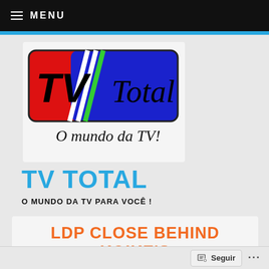≡ MENU
[Figure (logo): TV Total logo with red and blue rounded rectangle, white diagonal stripes and green accent stripe, italic 'TV' and script 'Total' text, with tagline 'O mundo da TV!' below in italic script]
TV TOTAL
O MUNDO DA TV PARA VOCÊ !
LDP CLOSE BEHIND KOIKE'S